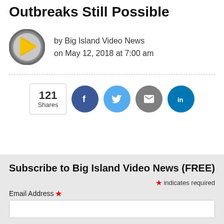Outbreaks Still Possible
by Big Island Video News
on May 12, 2018 at 7:00 am
[Figure (logo): Big Island Video News logo: grey circle with yellow play button arrow]
[Figure (infographic): Social share bar with 121 Shares count, Facebook, Twitter, Email, and LinkedIn buttons]
Subscribe to Big Island Video News (FREE)
* indicates required
Email Address *